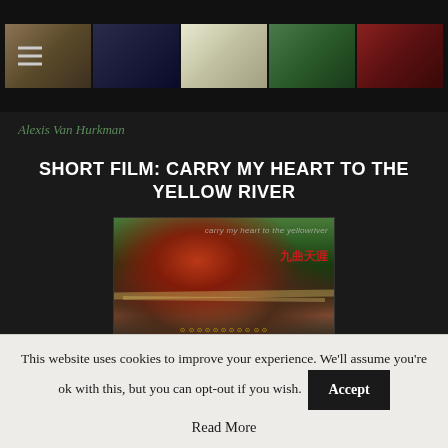Alexis Van Hurkman
[Figure (screenshot): Website header with hamburger menu icon on left and a row of 5 thumbnail images in the center on a dark background]
SHORT FILM: CARRY MY HEART TO THE YELLOW RIVER
[Figure (photo): Film poster for 'Carry My Heart to the Yellow River' (九曲天涯) showing a person wearing a red cap against a mountainous landscape, with film festival award laurels at the bottom]
A 21 minute dramatic short I directed in China that's concluded its
This website uses cookies to improve your experience. We'll assume you're ok with this, but you can opt-out if you wish.
Accept
Read More